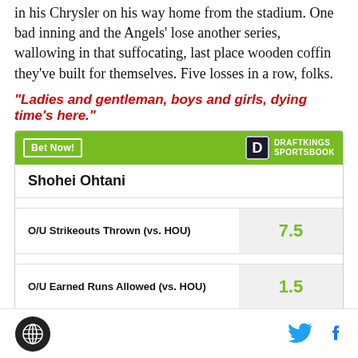in his Chrysler on his way home from the stadium. One bad inning and the Angels' lose another series, wallowing in that suffocating, last place wooden coffin they've built for themselves. Five losses in a row, folks.
"Ladies and gentleman, boys and girls, dying time's here."
| Shohei Ohtani |  |
| --- | --- |
| O/U Strikeouts Thrown (vs. HOU) | 7.5 |
| O/U Earned Runs Allowed (vs. HOU) | 1.5 |
Angels logo | Twitter | Facebook